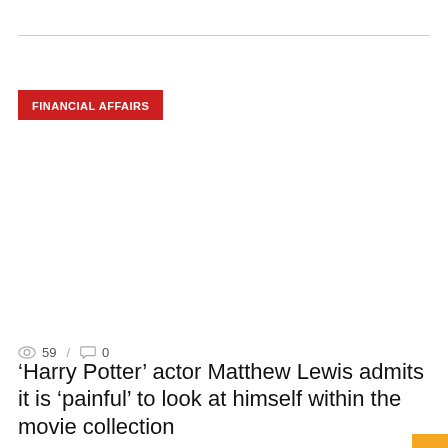FINANCIAL AFFAIRS
👁 59 / 💬 0
'Harry Potter' actor Matthew Lewis admits it is 'painful' to look at himself within the movie collection